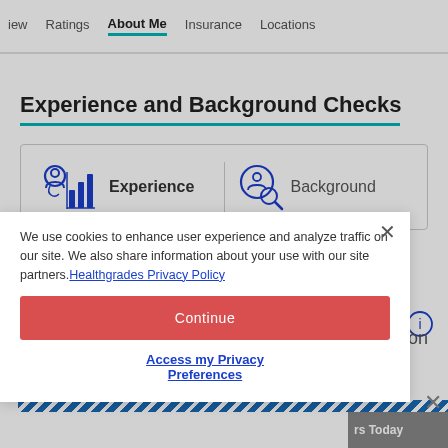iew   Ratings   About Me   Insurance   Locations
Experience and Background Checks
[Figure (screenshot): Card showing two sections: Experience (with doctor/chart icon) and Background (with person/search icon)]
We use cookies to enhance user experience and analyze traffic on our site. We also share information about your use with our site partners. Healthgrades Privacy Policy
Continue
Access my Privacy Preferences